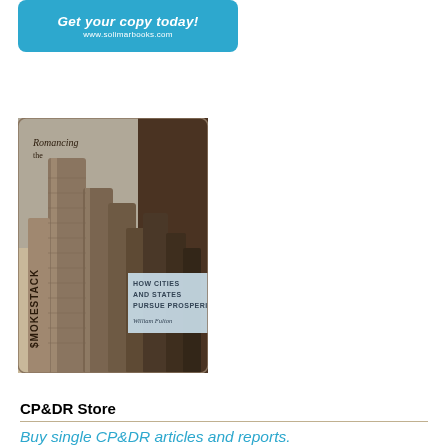[Figure (illustration): Blue banner advertisement with text 'Get your copy today!' and URL 'www.solimarbooks.com']
[Figure (illustration): Book cover for 'Romancing the Smokestack: How Cities and States Pursue Prosperity' by William Fulton. Shows industrial smokestacks in sepia/brown tones.]
CP&DR Store
Buy single CP&DR articles and reports.